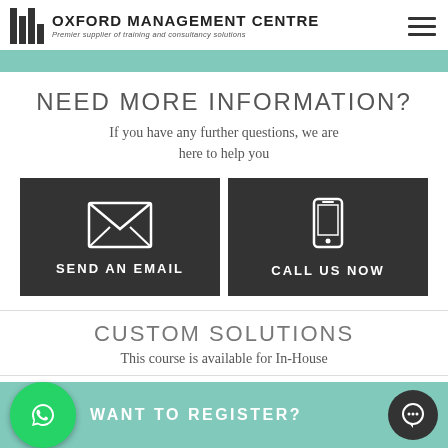OXFORD MANAGEMENT CENTRE — Premier supplier of training and consultancy solutions
[Figure (infographic): Teal decorative banner bar]
NEED MORE INFORMATION?
If you have any further questions, we are here to help you
[Figure (infographic): Two dark CTA buttons side by side: SEND AN EMAIL (with envelope icon) and CALL US NOW (with mobile phone icon)]
CUSTOM SOLUTIONS
This course is available for In-House
[Figure (infographic): Teal registration bar at bottom with WhatsApp icon, WANT TO REGISTER? text, and chat bubble icon]